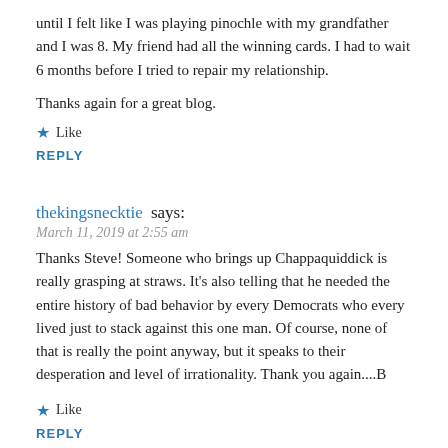until I felt like I was playing pinochle with my grandfather and I was 8. My friend had all the winning cards. I had to wait 6 months before I tried to repair my relationship.
Thanks again for a great blog.
Like
REPLY
thekingsnecktie says:
March 11, 2019 at 2:55 am
Thanks Steve! Someone who brings up Chappaquiddick is really grasping at straws. It's also telling that he needed the entire history of bad behavior by every Democrats who every lived just to stack against this one man. Of course, none of that is really the point anyway, but it speaks to their desperation and level of irrationality. Thank you again....B
Like
REPLY